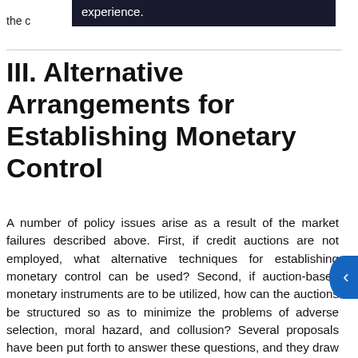the c
experience.
III. Alternative Arrangements for Establishing Monetary Control
A number of policy issues arise as a result of the market failures described above. First, if credit auctions are not employed, what alternative techniques for establishing monetary control can be used? Second, if auction-based monetary instruments are to be utilized, how can the auctions be structured so as to minimize the problems of adverse selection, moral hazard, and collusion? Several proposals have been put forth to answer these questions, and they draw on the recent experiences of a number of industrial and developing countries in dealing with insolvent, or nearly insolvent, institutions. In considering the relevance of the experiences of the industrial and developing countries for the problems